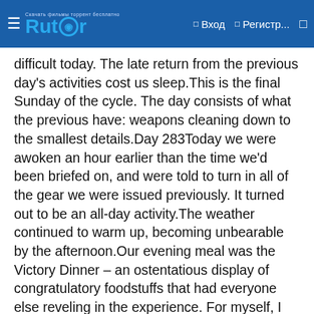Rutor | Вход | Регистр...
difficult today. The late return from the previous day's activities cost us sleep.This is the final Sunday of the cycle. The day consists of what the previous have: weapons cleaning down to the smallest details.Day 283Today we were awoken an hour earlier than the time we'd been briefed on, and were told to turn in all of the gear we were issued previously. It turned out to be an all-day activity.The weather continued to warm up, becoming unbearable by the afternoon.Our evening meal was the Victory Dinner – an ostentatious display of congratulatory foodstuffs that had everyone else reveling in the experience. For myself, I only go for the sustenance. I've really just stopped feeling any great passion here in the experience. The moment of congratulatory revelry seems artificial.After dinner, we continue to clean things, the end of the road clearly in sight now.Day 284We were up at 2:30 AM, early even for our standards.Our first task of the day was cleaning weapons. This was followed up with an inspection while we were wearing the class B dress uniforms we're set to graduate in.My normal approach puts me ahead of the game in presentability before being dismissed.The bulk of our day was